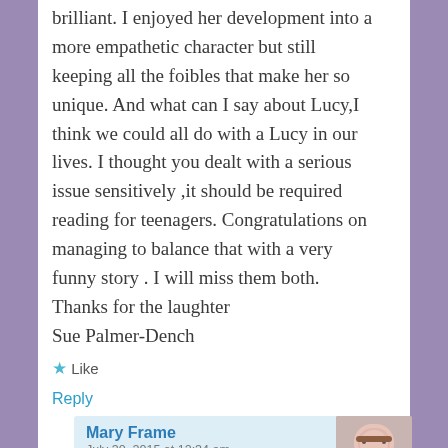brilliant. I enjoyed her development into a more empathetic character but still keeping all the foibles that make her so unique. And what can I say about Lucy,I think we could all do with a Lucy in our lives. I thought you dealt with a serious issue sensitively ,it should be required reading for teenagers. Congratulations on managing to balance that with a very funny story . I will miss them both. Thanks for the laughter
Sue Palmer-Dench
★ Like
Reply
Mary Frame
July 30, 2015 at 12:34 am